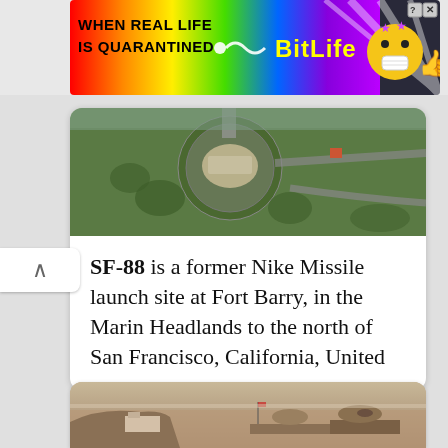[Figure (screenshot): BitLife advertisement banner with rainbow gradient background, text 'WHEN REAL LIFE IS QUARANTINED' and 'BitLife' logo with emoji characters, close button]
[Figure (photo): Aerial photograph of SF-88 Nike Missile launch site at Fort Barry in Marin Headlands, showing circular fortification structures and roads surrounded by green vegetation]
SF-88 is a former Nike Missile launch site at Fort Barry, in the Marin Headlands to the north of San Francisco, California, United
[Figure (photo): Sepia-toned historical photograph showing a coastal fortification with buildings on rocky promontory, islands visible in the background water]